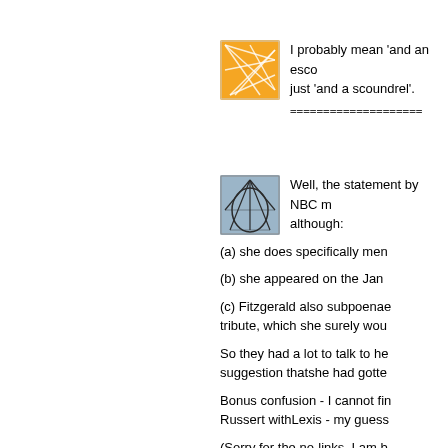[Figure (illustration): Orange square icon with white geometric line pattern/network overlay]
I probably mean 'and an esco just 'and a scoundrel'.
====================
[Figure (illustration): Blue/grey square icon with dark geometric network/spider-web pattern]
Well, the statement by NBC m although:
(a) she does specifically men
(b) she appeared on the Jan
(c) Fitzgerald also subpoenae tribute, which she surely wou
So they had a lot to talk to he suggestion thatshe had gotte
Bonus confusion - I cannot fin Russert withLexis - my guess
(Sorry for the no-links, I am b where I am...)